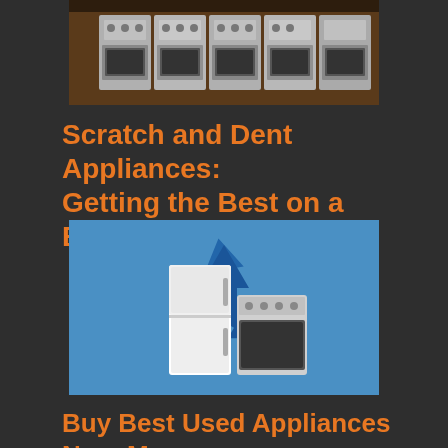[Figure (photo): Photo of stainless steel appliances (ovens/ranges) lined up in a store]
Scratch and Dent Appliances: Getting the Best on a Budget
[Figure (illustration): Illustration showing a recycling symbol with a refrigerator and stove in the center on a blue background]
Buy Best Used Appliances Near Me – AM Appliance Group